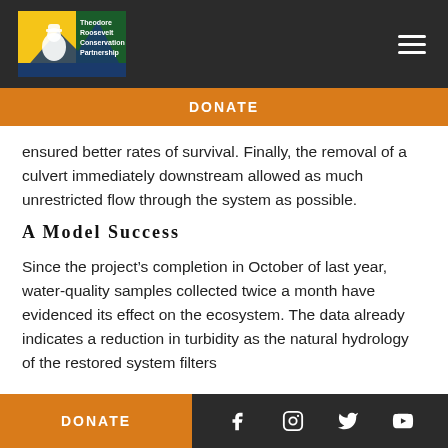Theodore Roosevelt Conservation Partnership
DONATE
ensured better rates of survival. Finally, the removal of a culvert immediately downstream allowed as much unrestricted flow through the system as possible.
A Model Success
Since the project’s completion in October of last year, water-quality samples collected twice a month have evidenced its effect on the ecosystem. The data already indicates a reduction in turbidity as the natural hydrology of the restored system filters
DONATE